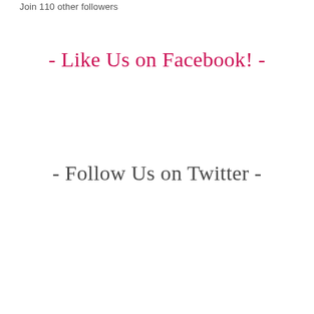Join 110 other followers
- Like Us on Facebook! -
- Follow Us on Twitter -